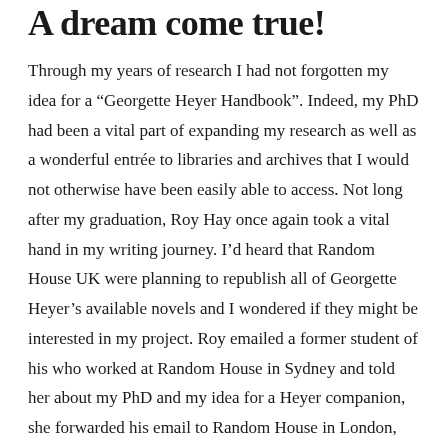A dream come true!
Through my years of research I had not forgotten my idea for a “Georgette Heyer Handbook”. Indeed, my PhD had been a vital part of expanding my research as well as a wonderful entrée to libraries and archives that I would not otherwise have been easily able to access. Not long after my graduation, Roy Hay once again took a vital hand in my writing journey. I’d heard that Random House UK were planning to republish all of Georgette Heyer’s available novels and I wondered if they might be interested in my project. Roy emailed a former student of his who worked at Random House in Sydney and told her about my PhD and my idea for a Heyer companion, she forwarded his email to Random House in London, who immediately sent a message back asking me to contact them. I made that exciting phone call, which resulted in a